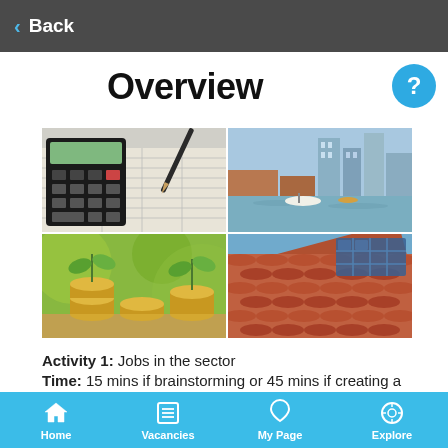< Back
Overview
[Figure (illustration): 2x2 grid of four images: top-left shows a calculator on financial spreadsheets with a pen; top-right shows a cityscape with buildings and waterfront; bottom-left shows coins stacked with green plant seedlings growing on them (savings/investment concept); bottom-right shows a rooftop with clay tiles and solar panels.]
Activity 1: Jobs in the sector
Time: 15 mins if brainstorming or 45 mins if creating a
Home   Vacancies   My Page   Explore